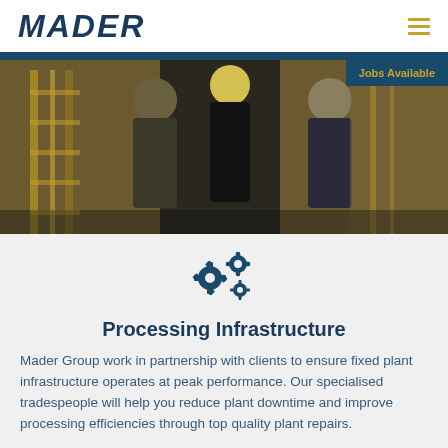MADER
[Figure (photo): Construction workers in safety gear and high-visibility vests standing in an industrial plant with yellow scaffolding and equipment in background]
Jobs Available
[Figure (illustration): Gear/cog icons representing processing infrastructure]
Processing Infrastructure
Mader Group work in partnership with clients to ensure fixed plant infrastructure operates at peak performance. Our specialised tradespeople will help you reduce plant downtime and improve processing efficiencies through top quality plant repairs.